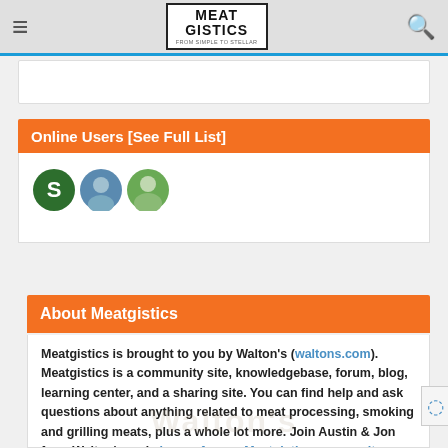Meatgistics — navigation bar with hamburger menu, Meatgistics logo, and search icon
Online Users [See Full List]
[Figure (illustration): Three user avatars: green circle with letter S, blue circle with a person photo, green circle with a person photo]
About Meatgistics
Meatgistics is brought to you by Walton's (waltons.com). Meatgistics is a community site, knowledgebase, forum, blog, learning center, and a sharing site. You can find help and ask questions about anything related to meat processing, smoking and grilling meats, plus a whole lot more. Join Austin & Jon from Walton's and sign up for our Meatgistics community today. We have created Meagistics